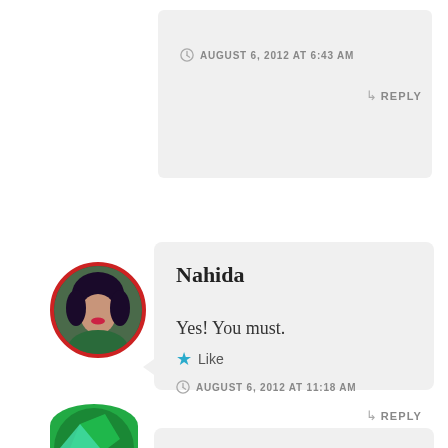AUGUST 6, 2012 AT 6:43 AM
REPLY
Nahida
Yes! You must.
Like
AUGUST 6, 2012 AT 11:18 AM
REPLY